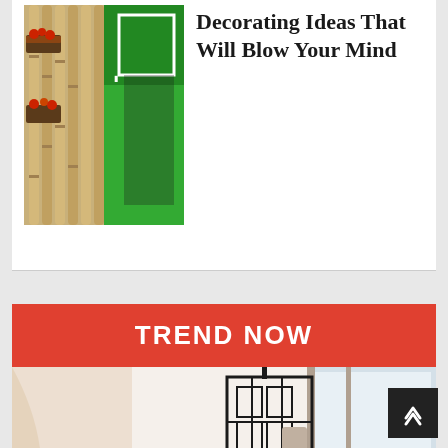[Figure (photo): Two photos of bamboo wall decoration with plants and green turf]
Decorating Ideas That Will Blow Your Mind
TREND NOW
[Figure (photo): Interior photo with white flower bouquet in vase, black lantern, and mirror near window]